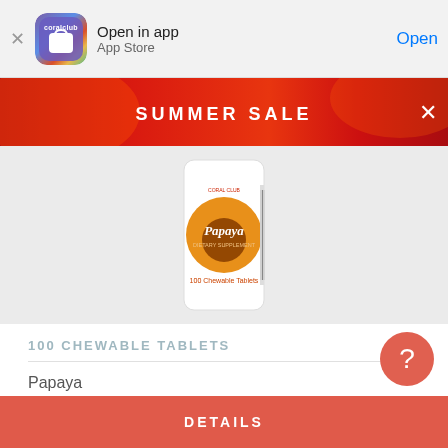[Figure (screenshot): Coral Club app icon — purple/blue/orange/green gradient rounded square with 'coralclub' text and white shopping bag icon]
Open in app
App Store
Open
[Figure (illustration): Red summer sale banner with text SUMMER SALE and X close button, showing orange/red abstract background]
[Figure (photo): Papaya dietary supplement bottle with 100 chewable tablets, white bottle with orange papaya fruit graphic]
100 CHEWABLE TABLETS
Papaya
11.00 - 13.75 USD
DETAILS